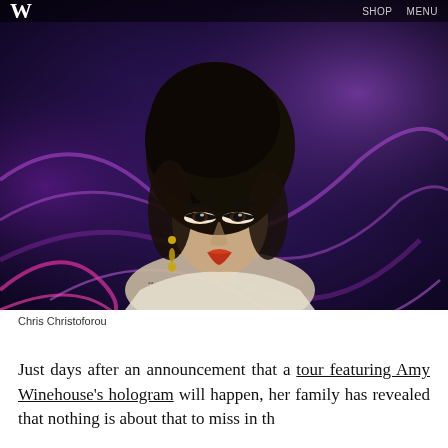W   SHOP   MENU
[Figure (photo): Amy Winehouse performing on stage with dramatic eye makeup, large beehive hairstyle, and dangling earrings against a purple and blue lit background]
Chris Christoforou
Just days after an announcement that a tour featuring Amy Winehouse's hologram will happen, her family has revealed that nothing is about that to miss in the